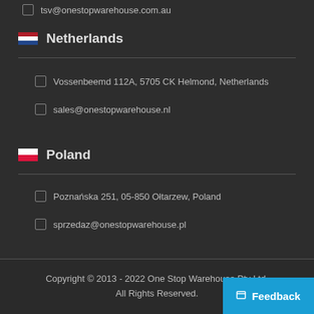tsv@onestopwarehouse.com.au
Netherlands
Vossenbeemd 112A, 5705 CK Helmond, Netherlands
sales@onestopwarehouse.nl
Poland
Poznańska 251, 05-850 Ołtarzew, Poland
sprzedaz@onestopwarehouse.pl
Copyright © 2013 - 2022 One Stop Warehouse Pty Ltd. All Rights Reserved.